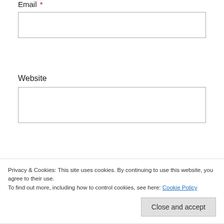Email *
Website
Post Comment
Notify me of new comments via email.
Notify me of new posts via email.
Privacy & Cookies: This site uses cookies. By continuing to use this website, you agree to their use. To find out more, including how to control cookies, see here: Cookie Policy